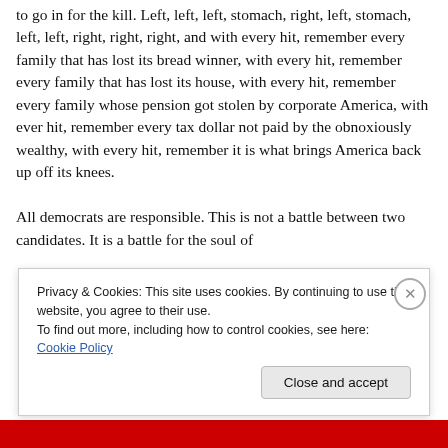to go in for the kill. Left, left, left, stomach, right, left, stomach, left, left, right, right, right, and with every hit, remember every family that has lost its bread winner, with every hit, remember every family that has lost its house, with every hit, remember every family whose pension got stolen by corporate America, with ever hit, remember every tax dollar not paid by the obnoxiously wealthy, with every hit, remember it is what brings America back up off its knees.

All democrats are responsible. This is not a battle between two candidates. It is a battle for the soul of
Privacy & Cookies: This site uses cookies. By continuing to use this website, you agree to their use.
To find out more, including how to control cookies, see here: Cookie Policy